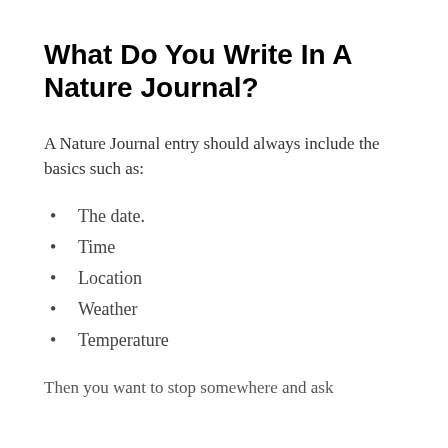What Do You Write In A Nature Journal?
A Nature Journal entry should always include the basics such as:
The date.
Time
Location
Weather
Temperature
Then you want to stop somewhere and ask